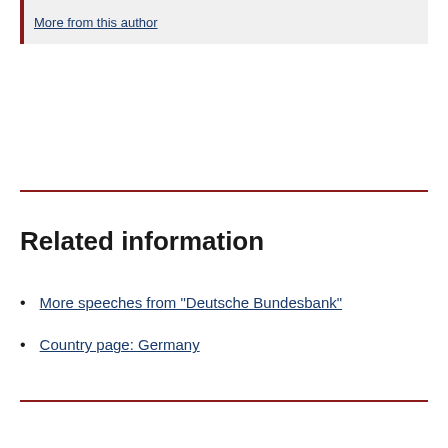More from this author
Related information
More speeches from "Deutsche Bundesbank"
Country page: Germany